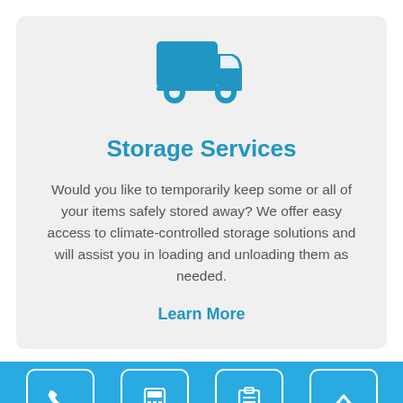[Figure (illustration): Blue moving truck icon]
Storage Services
Would you like to temporarily keep some or all of your items safely stored away? We offer easy access to climate-controlled storage solutions and will assist you in loading and unloading them as needed.
Learn More
Bottom navigation bar with phone, calculator, clipboard, and up-arrow icons